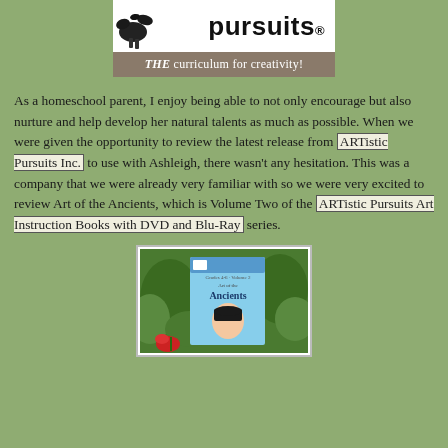[Figure (logo): ARTistic Pursuits logo with large 'pursuits.' text and tagline 'THE curriculum for creativity!' on brown background]
As a homeschool parent, I enjoy being able to not only encourage but also nurture and help develop her natural talents as much as possible. When we were given the opportunity to review the latest release from ARTistic Pursuits Inc. to use with Ashleigh, there wasn't any hesitation. This was a company that we were already very familiar with so we were very excited to review Art of the Ancients, which is Volume Two of the ARTistic Pursuits Art Instruction Books with DVD and Blu-Ray series.
[Figure (photo): Photo of the 'Art of the Ancients' book cover showing a girl's illustrated face, surrounded by green foliage and a red rose in the foreground]